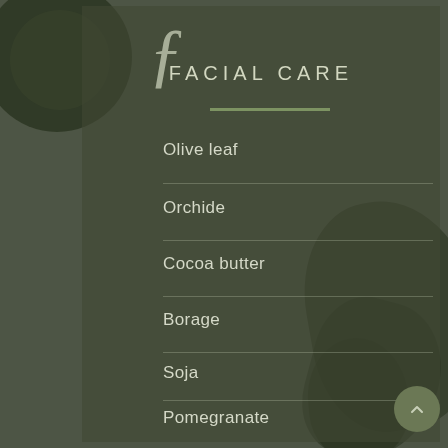FACIAL CARE
Olive leaf
Orchide
Cocoa butter
Borage
Soja
Pomegranate
Grapefruit
Apple